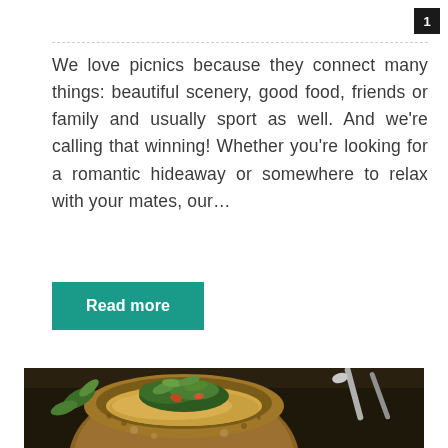1
We love picnics because they connect many things: beautiful scenery, good food, friends or family and usually sport as well. And we're calling that winning! Whether you're looking for a romantic hideaway or somewhere to relax with your mates, our…
Read more
[Figure (photo): A bread bowl filled with creamy soup, garnished with fresh cilantro/herbs and vegetables, with spoons visible in the background on a rustic surface.]